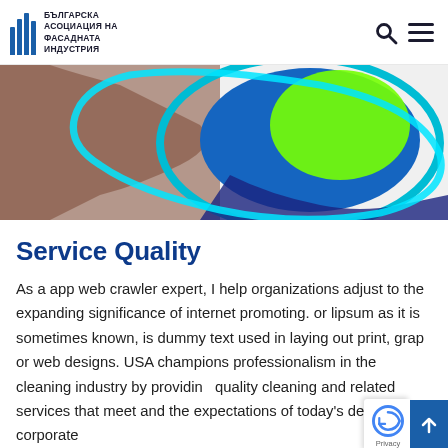БЪЛГАРСКА АСОЦИАЦИЯ НА ФАСАДНАТА ИНДУСТРИЯ
[Figure (photo): Partial view of a cleaning product or facade material with cyan/teal border, brown textured surface, blue and green liquid or material visible in a rounded shape]
Service Quality
As a app web crawler expert, I help organizations adjust to the expanding significance of internet promoting. or lipsum as it is sometimes known, is dummy text used in laying out print, grap or web designs. USA champions professionalism in the cleaning industry by providing quality cleaning and related services that meet and the expectations of today's demanding corporate